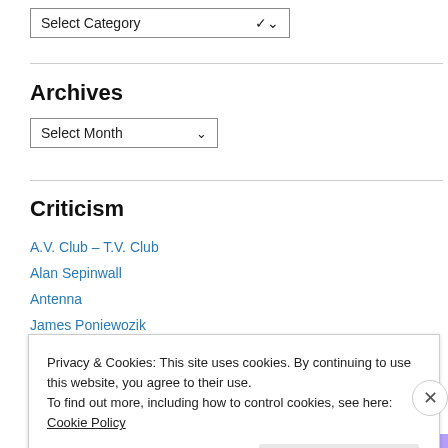[Figure (screenshot): A dropdown widget labeled 'Select Category' with a chevron arrow on the right]
Archives
[Figure (screenshot): A dropdown widget labeled 'Select Month' with a chevron arrow on the right]
Criticism
A.V. Club – T.V. Club
Alan Sepinwall
Antenna
James Poniewozik
Privacy & Cookies: This site uses cookies. By continuing to use this website, you agree to their use.
To find out more, including how to control cookies, see here: Cookie Policy
Close and accept